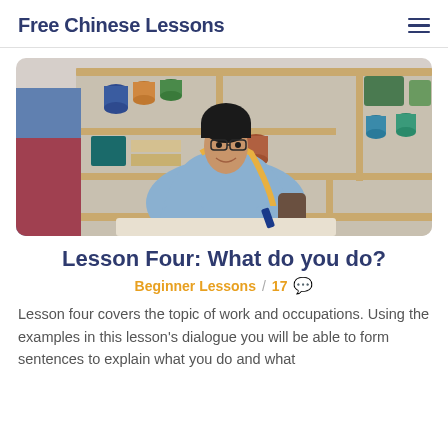Free Chinese Lessons
[Figure (photo): Young Asian man smiling, wearing glasses and a light blue sweater with a yellow measuring tape around his neck, sitting in a tailoring/craft workshop with shelves of colorful thread spools and fabric in the background.]
Lesson Four: What do you do?
Beginner Lessons / 17 💬
Lesson four covers the topic of work and occupations. Using the examples in this lesson's dialogue you will be able to form sentences to explain what you do and what